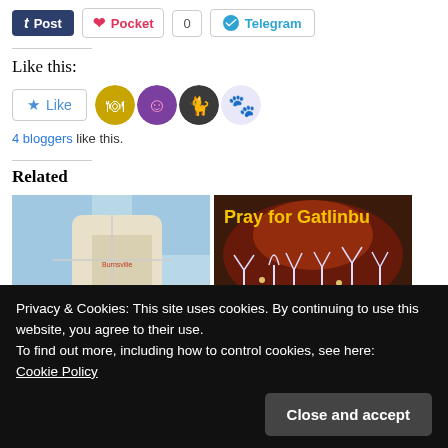[Figure (screenshot): Share buttons row: Tumblr Post button (dark blue), Pocket button (white with red heart), count badge showing 0, Telegram button (white with blue icon)]
Like this:
[Figure (screenshot): Like button widget with star icon and 4 blogger avatar thumbnails]
4 bloggers like this.
Related
[Figure (photo): Map image showing coastal region]
[Figure (photo): Night photo with text 'Pray for Gatlinbu' in yellow, showing fire and illuminated trees]
Privacy & Cookies: This site uses cookies. By continuing to use this website, you agree to their use.
To find out more, including how to control cookies, see here: Cookie Policy
Close and accept